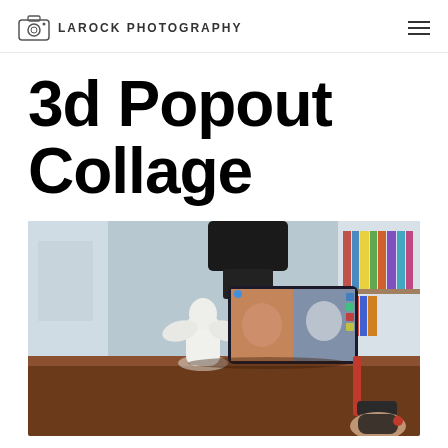LAROCK PHOTOGRAPHY
3d Popout Collage
[Figure (photo): A person photographing/scanning a white angel figurine on a wooden desk using a smartphone mounted on a camera rig; the phone screen shows a 3D scanning app with the figurine rendered in 3D; bookshelves visible in background.]